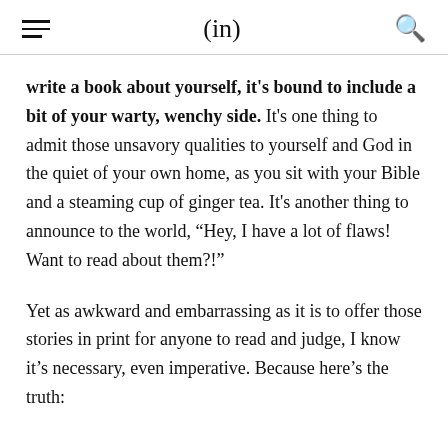(in)
write a book about yourself, it's bound to include a bit of your warty, wenchy side. It's one thing to admit those unsavory qualities to yourself and God in the quiet of your own home, as you sit with your Bible and a steaming cup of ginger tea. It's another thing to announce to the world, “Hey, I have a lot of flaws! Want to read about them?!”
Yet as awkward and embarrassing as it is to offer those stories in print for anyone to read and judge, I know it’s necessary, even imperative. Because here’s the truth: